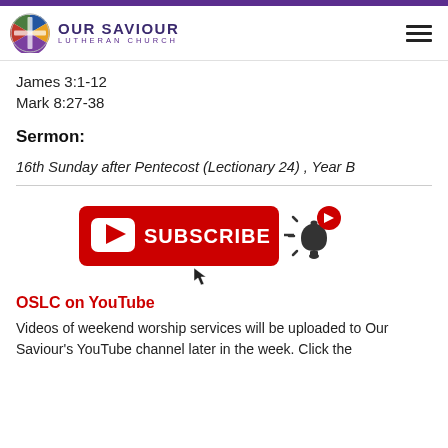Our Saviour Lutheran Church
James 3:1-12
Mark 8:27-38
Sermon:
16th Sunday after Pentecost (Lectionary 24) , Year B
[Figure (illustration): YouTube Subscribe button with bell notification icon and cursor]
OSLC on YouTube
Videos of weekend worship services will be uploaded to Our Saviour's YouTube channel later in the week. Click the SUBSCRIBE button and...